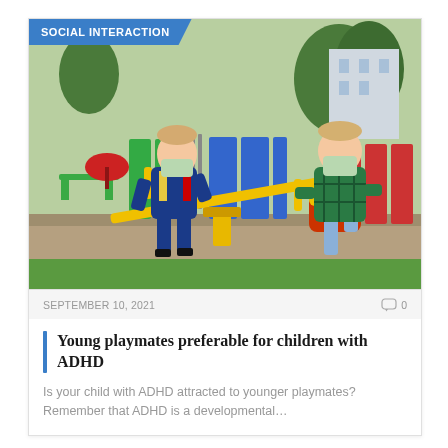[Figure (photo): Two young boys wearing face masks playing on a yellow seesaw in a colorful playground. One boy in a blue tracksuit stands on the left, the other in a green plaid jacket sits on the right on the seesaw seat. The background shows colorful wooden fences in blue, red, and green, and green trees.]
SOCIAL INTERACTION
SEPTEMBER 10, 2021
0
Young playmates preferable for children with ADHD
Is your child with ADHD attracted to younger playmates? Remember that ADHD is a developmental…